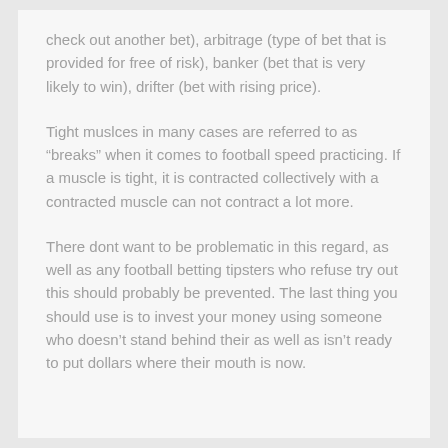check out another bet), arbitrage (type of bet that is provided for free of risk), banker (bet that is very likely to win), drifter (bet with rising price).
Tight muslces in many cases are referred to as “breaks” when it comes to football speed practicing. If a muscle is tight, it is contracted collectively with a contracted muscle can not contract a lot more.
There dont want to be problematic in this regard, as well as any football betting tipsters who refuse try out this should probably be prevented. The last thing you should use is to invest your money using someone who doesn’t stand behind their as well as isn’t ready to put dollars where their mouth is now.